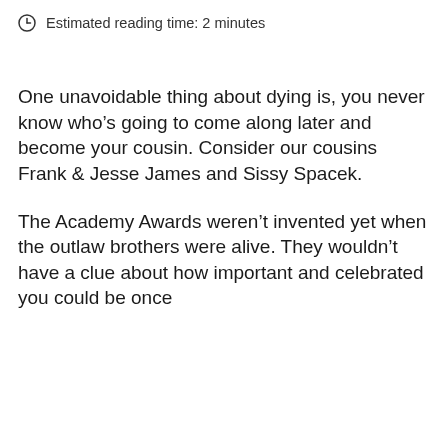Estimated reading time: 2 minutes
One unavoidable thing about dying is, you never know who’s going to come along later and become your cousin. Consider our cousins Frank & Jesse James and Sissy Spacek.
The Academy Awards weren’t invented yet when the outlaw brothers were alive. They wouldn’t have a clue about how important and celebrated you could be once